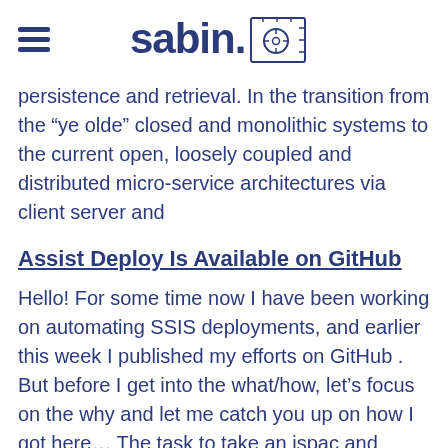sabin.io
persistence and retrieval. In the transition from the “ye olde” closed and monolithic systems to the current open, loosely coupled and distributed micro-service architectures via client server and
Assist Deploy Is Available on GitHub
Hello! For some time now I have been working on automating SSIS deployments, and earlier this week I published my efforts on GitHub . But before I get into the what/how, let’s focus on the why and let me catch you up on how I got here… The task to take an ispac and deploy in and of itself is quite a straightforward process as those